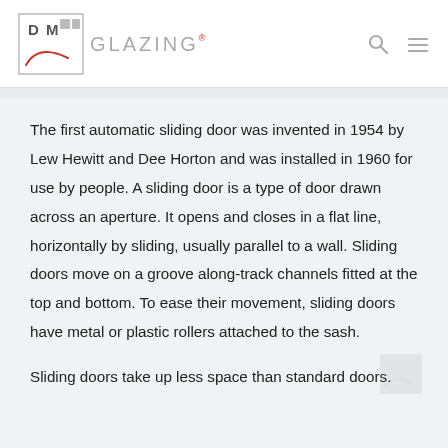DR M Glazing [logo with navigation icons]
The first automatic sliding door was invented in 1954 by Lew Hewitt and Dee Horton and was installed in 1960 for use by people. A sliding door is a type of door drawn across an aperture. It opens and closes in a flat line, horizontally by sliding, usually parallel to a wall. Sliding doors move on a groove along-track channels fitted at the top and bottom. To ease their movement, sliding doors have metal or plastic rollers attached to the sash. Sliding doors take up less space than standard doors.